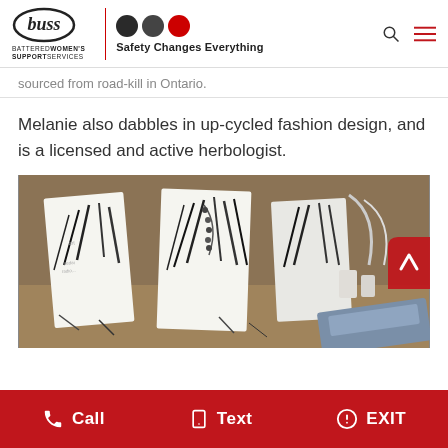buss BATTERED WOMEN'S SUPPORT SERVICES | Safety Changes Everything
sourced from road-kill in Ontario.
Melanie also dabbles in up-cycled fashion design, and is a licensed and active herbologist.
[Figure (photo): Display of indigenous-style jewelry and accessories with feather and bead decorations on white card displays, arranged on a wooden table]
Call  Text  EXIT